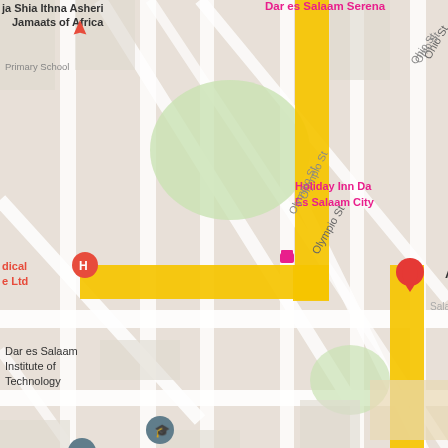[Figure (map): Google Maps screenshot showing the location of Africa Federation in Dar es Salaam, Tanzania. Visible landmarks include Dar es Salaam Institute of Technology, General Post Office, Hotel Sapphire, Chowpatty restaurant, African Relief Organization, City Mall, Youth for Africa Organisation, Holiday Inn Dar Es Salaam City, and Dar es Salaam Serena. A yellow highlighted route is visible on the map. A red map pin marks Africa Federation location. Street names visible include Olympio St, Kisutu St, India St, Ohio St, Gha (partial).]
© 2019 Africa Federation Redesigned By Fabonic.